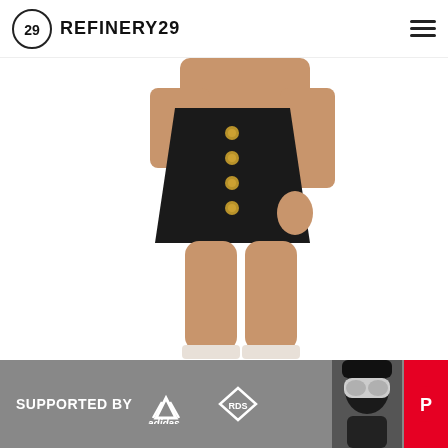REFINERY29
[Figure (photo): A woman's torso and legs wearing a black A-line mini skirt with gold buttons down the front center, on a white background. The model wears a white ankle strap shoe.]
[Figure (screenshot): Advertisement banner: dark gray background with text 'SUPPORTED BY' followed by Adidas and RDS logos, and a person wearing ski goggles on the right.]